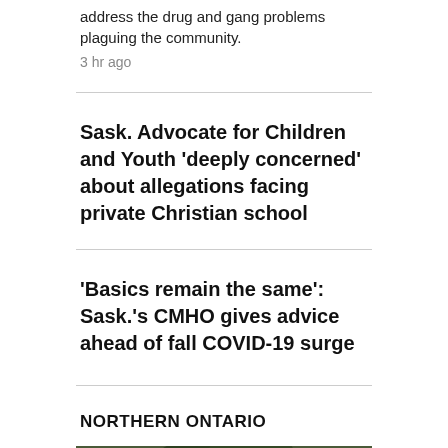address the drug and gang problems plaguing the community.
3 hr ago
Sask. Advocate for Children and Youth 'deeply concerned' about allegations facing private Christian school
'Basics remain the same': Sask.'s CMHO gives advice ahead of fall COVID-19 surge
NORTHERN ONTARIO
[Figure (photo): Cyclists wearing helmets and sunglasses standing outdoors near trees]